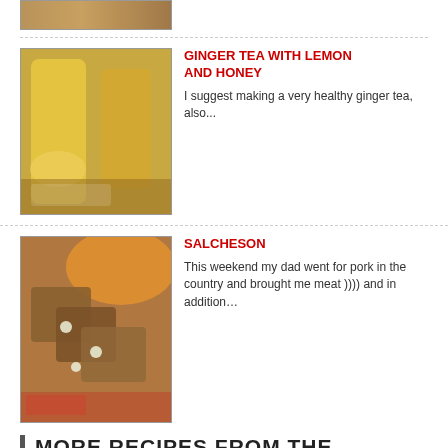[Figure (photo): Partial view of a baked bread/food item at the top of the page]
[Figure (photo): Ginger tea with lemon and honey — glasses of golden tea with lemon slice]
GINGER TEA WITH LEMON AND HONEY
I suggest making a very healthy ginger tea, also...
[Figure (photo): Salcheson — sliced pork meat/sausage served on bread on a plate]
SALCHESON
This weekend my dad went for pork in the country and brought me meat )))) and in addition…
MORE RECIPES FROM THE CATEGORY: